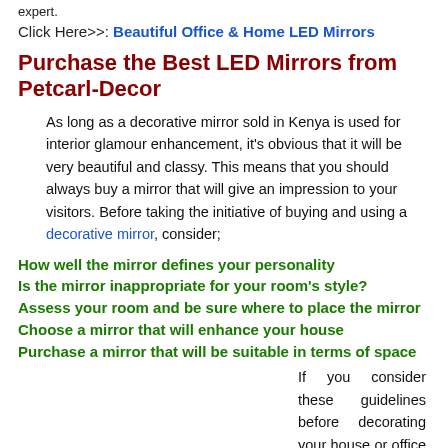expert.
Click Here>>: Beautiful Office & Home LED Mirrors
Purchase the Best LED Mirrors from Petcarl-Decor
As long as a decorative mirror sold in Kenya is used for interior glamour enhancement, it's obvious that it will be very beautiful and classy. This means that you should always buy a mirror that will give an impression to your visitors. Before taking the initiative of buying and using a decorative mirror, consider;
How well the mirror defines your personality
Is the mirror inappropriate for your room's style?
Assess your room and be sure where to place the mirror
Choose a mirror that will enhance your house
Purchase a mirror that will be suitable in terms of space
If you consider these guidelines before decorating your house or office with a mirror, without a doubt you